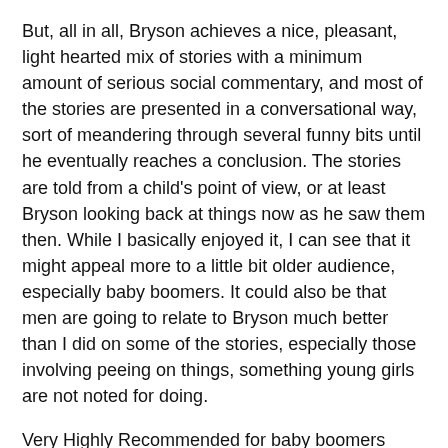But, all in all, Bryson achieves a nice, pleasant, light hearted mix of stories with a minimum amount of serious social commentary, and most of the stories are presented in a conversational way, sort of meandering through several funny bits until he eventually reaches a conclusion. The stories are told from a child's point of view, or at least Bryson looking back at things now as he saw them then. While I basically enjoyed it, I can see that it might appeal more to a little bit older audience, especially baby boomers. It could also be that men are going to relate to Bryson much better than I did on some of the stories, especially those involving peeing on things, something young girls are not noted for doing.
Very Highly Recommended for baby boomers
(On a side note, my brother and I were just discussing the likelihood of nuclear fallout reaching where we grew up and it looks like we were right.)
Quotes: